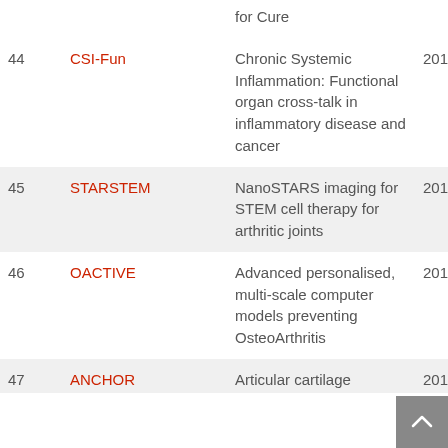| # | Acronym | Description | Year |
| --- | --- | --- | --- |
|  |  | for Cure |  |
| 44 | CSI-Fun | Chronic Systemic Inflammation: Functional organ cross-talk in inflammatory disease and cancer | 2018 |
| 45 | STARSTEM | NanoSTARS imaging for STEM cell therapy for arthritic joints | 2018 |
| 46 | OACTIVE | Advanced personalised, multi-scale computer models preventing OsteoArthritis | 2017 |
| 47 | ANCHOR | Articular cartilage | 2017 |